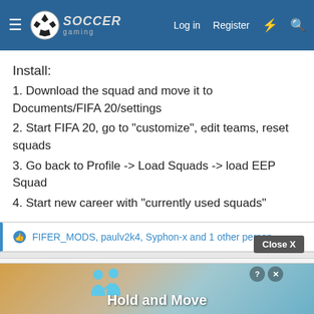Soccer Gaming — Log in  Register
Install:
1. Download the squad and move it to Documents/FIFA 20/settings
2. Start FIFA 20, go to "customize", edit teams, reset squads
3. Go back to Profile -> Load Squads -> load EEP Squad
4. Start new career with "currently used squads"
FIFER_MODS, paulv2k4, Syphon-x and 1 other person
Syphon-x
Youth Team
Sep 21, 20...
#14
SlimO...
[Figure (screenshot): Ad overlay showing Hold and Move with people figures icons]